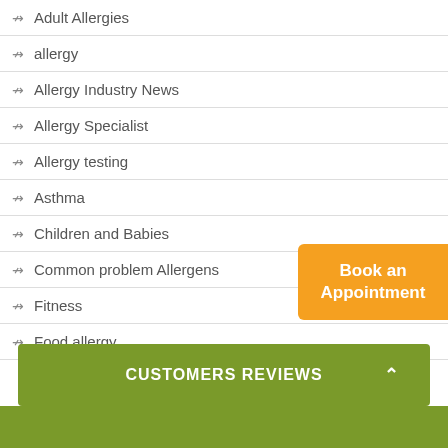Adult Allergies
allergy
Allergy Industry News
Allergy Specialist
Allergy testing
Asthma
Children and Babies
Common problem Allergens
Fitness
Food allergy
Book an Appointment
CUSTOMERS REVIEWS